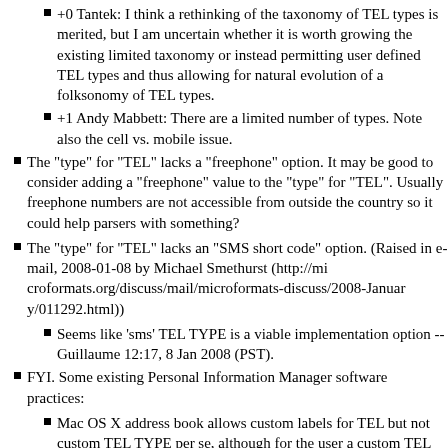+0 Tantek: I think a rethinking of the taxonomy of TEL types is merited, but I am uncertain whether it is worth growing the existing limited taxonomy or instead permitting user defined TEL types and thus allowing for natural evolution of a folksonomy of TEL types.
+1 Andy Mabbett: There are a limited number of types. Note also the cell vs. mobile issue.
The "type" for "TEL" lacks a "freephone" option. It may be good to consider adding a "freephone" value to the "type" for "TEL". Usually freephone numbers are not accessible from outside the country so it could help parsers with something?
The "type" for "TEL" lacks an "SMS short code" option. (Raised in e-mail, 2008-01-08 by Michael Smethurst (http://microformats.org/discuss/mail/microformats-discuss/2008-January/011292.html))
Seems like 'sms' TEL TYPE is a viable implementation option --Guillaume 12:17, 8 Jan 2008 (PST).
FYI. Some existing Personal Information Manager software practices:
Mac OS X address book allows custom labels for TEL but not custom TEL TYPE per se, although for the user a custom TEL label just looks like a TEL TYPE
Microsoft Outlook does not allow custom TEL TYPE values. Also, Microsoft Outlook has a "Company" telephone type, but unfortunately it isn't mapped to